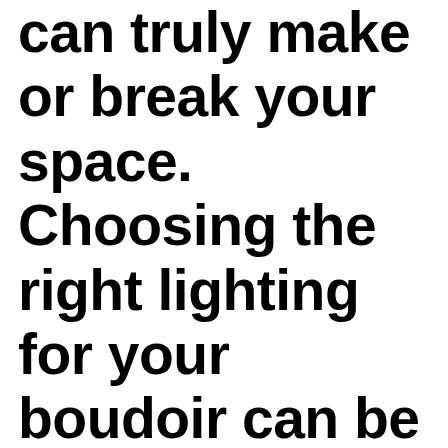can truly make or break your space. Choosing the right lighting for your boudoir can be a bit tricky though, especially if you use that space for reading, watching